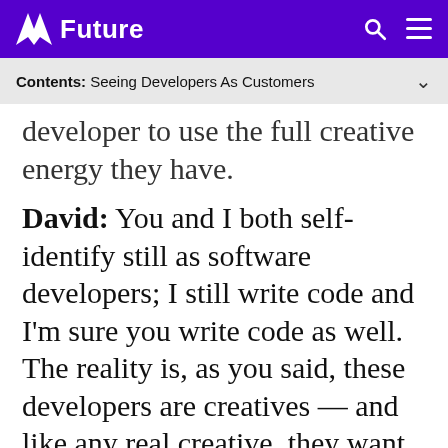Future
Contents: Seeing Developers As Customers
developer to use the full creative energy they have.
David: You and I both self-identify still as software developers; I still write code and I'm sure you write code as well. The reality is, as you said, these developers are creatives — and like any real creative, they want people to use their work, their art.
I actually believe that there's like a selfish